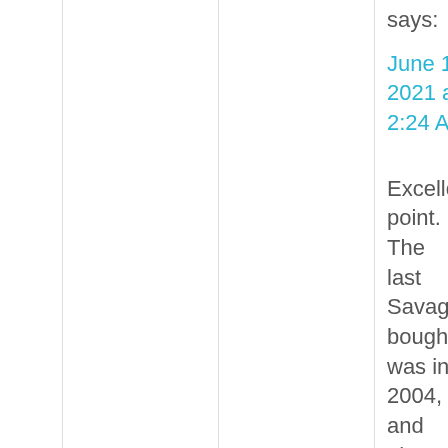says:
June 12, 2021 at 2:24 AM
Excellent point. The last Savage I bought was in 2004, and I have had no problems with it in the intervening 17